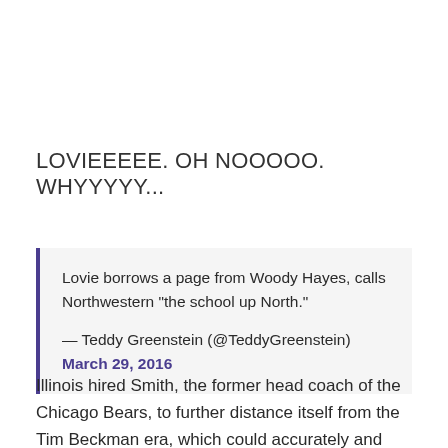LOVIEEEEE. OH NOOOOO. WHYYYYY...
Lovie borrows a page from Woody Hayes, calls Northwestern "the school up North."

— Teddy Greenstein (@TeddyGreenstein) March 29, 2016
Illinois hired Smith, the former head coach of the Chicago Bears, to further distance itself from the Tim Beckman era, which could accurately and succinctly be